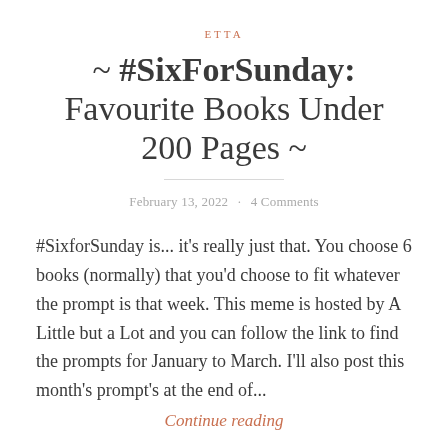ETTA
~ #SixForSunday: Favourite Books Under 200 Pages ~
February 13, 2022 · 4 Comments
#SixforSunday is... it's really just that. You choose 6 books (normally) that you'd choose to fit whatever the prompt is that week. This meme is hosted by A Little but a Lot and you can follow the link to find the prompts for January to March. I'll also post this month's prompt's at the end of...
Continue reading